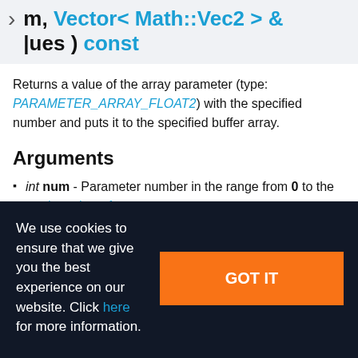m, Vector< Math::Vec2 > & lues ) const
Returns a value of the array parameter (type: PARAMETER_ARRAY_FLOAT2) with the specified number and puts it to the specified buffer array.
Arguments
int num - Parameter number in the range from 0 to the total number of parameters
We use cookies to ensure that we give you the best experience on our website. Click here for more information.